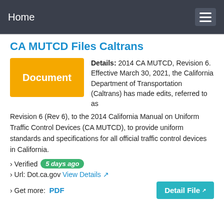Home
CA MUTCD Files Caltrans
Details: 2014 CA MUTCD, Revision 6. Effective March 30, 2021, the California Department of Transportation (Caltrans) has made edits, referred to as Revision 6 (Rev 6), to the 2014 California Manual on Uniform Traffic Control Devices (CA MUTCD), to provide uniform standards and specifications for all official traffic control devices in California.
› Verified 5 days ago
› Url: Dot.ca.gov View Details
› Get more: PDF